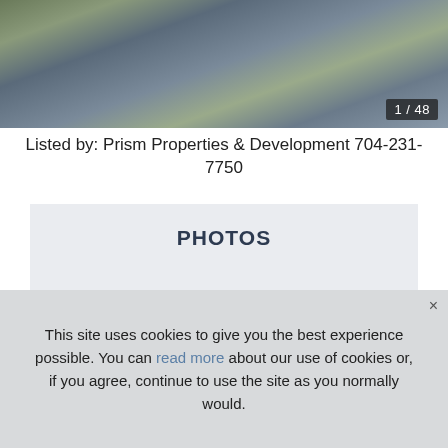[Figure (photo): Aerial/elevated photo of an urban building complex with rooftop pool area and surrounding city buildings, showing 1/48 counter overlay in bottom right]
Listed by: Prism Properties & Development 704-231-7750
PHOTOS
Schedule a Showing
This site uses cookies to give you the best experience possible. You can read more about our use of cookies or, if you agree, continue to use the site as you normally would.